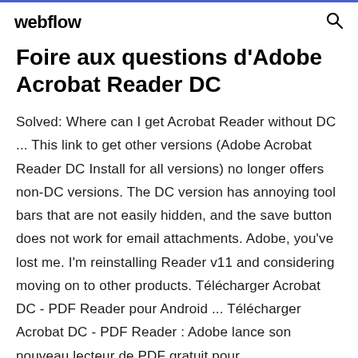webflow
Foire aux questions d'Adobe Acrobat Reader DC
Solved: Where can I get Acrobat Reader without DC ... This link to get other versions (Adobe Acrobat Reader DC Install for all versions) no longer offers non-DC versions. The DC version has annoying tool bars that are not easily hidden, and the save button does not work for email attachments. Adobe, you've lost me. I'm reinstalling Reader v11 and considering moving on to other products. Télécharger Acrobat DC - PDF Reader pour Android ... Télécharger Acrobat DC - PDF Reader : Adobe lance son nouveau lecteur de PDF gratuit pour